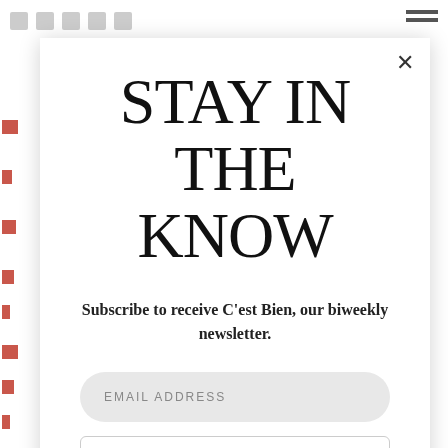STAY IN THE KNOW
Subscribe to receive C'est Bien, our biweekly newsletter.
EMAIL ADDRESS
SUBSCRIBE